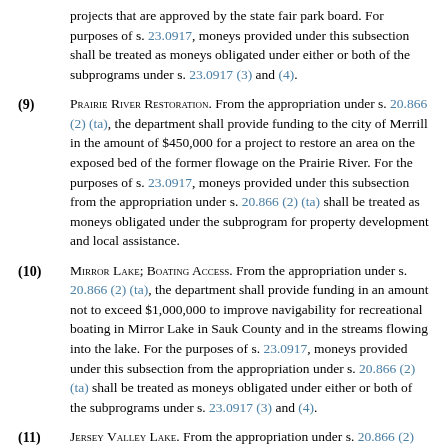projects that are approved by the state fair park board. For purposes of s. 23.0917, moneys provided under this subsection shall be treated as moneys obligated under either or both of the subprograms under s. 23.0917 (3) and (4).
(9) Prairie River Restoration. From the appropriation under s. 20.866 (2) (ta), the department shall provide funding to the city of Merrill in the amount of $450,000 for a project to restore an area on the exposed bed of the former flowage on the Prairie River. For the purposes of s. 23.0917, moneys provided under this subsection from the appropriation under s. 20.866 (2) (ta) shall be treated as moneys obligated under the subprogram for property development and local assistance.
(10) Mirror Lake; Boating Access. From the appropriation under s. 20.866 (2) (ta), the department shall provide funding in an amount not to exceed $1,000,000 to improve navigability for recreational boating in Mirror Lake in Sauk County and in the streams flowing into the lake. For the purposes of s. 23.0917, moneys provided under this subsection from the appropriation under s. 20.866 (2) (ta) shall be treated as moneys obligated under either or both of the subprograms under s. 23.0917 (3) and (4).
(11) Jersey Valley Lake. From the appropriation under s. 20.866 (2) (ta), the department shall provide funding in an amount not to exceed $500,000 to Vernon County to restore Jersey Valley Lake. The funding authorized under this subsection shall be...